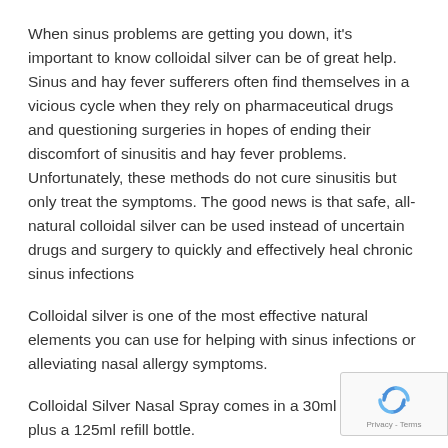When sinus problems are getting you down, it's important to know colloidal silver can be of great help. Sinus and hay fever sufferers often find themselves in a vicious cycle when they rely on pharmaceutical drugs and questioning surgeries in hopes of ending their discomfort of sinusitis and hay fever problems. Unfortunately, these methods do not cure sinusitis but only treat the symptoms. The good news is that safe, all-natural colloidal silver can be used instead of uncertain drugs and surgery to quickly and effectively heal chronic sinus infections
Colloidal silver is one of the most effective natural elements you can use for helping with sinus infections or alleviating nasal allergy symptoms.
Colloidal Silver Nasal Spray comes in a 30ml dispenser plus a 125ml refill bottle.
[Figure (logo): reCAPTCHA badge with blue recycling arrows icon and Privacy - Terms text]